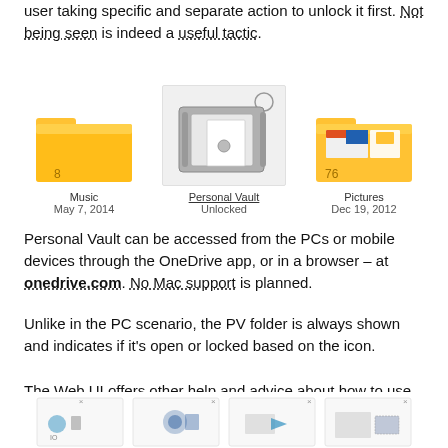user taking specific and separate action to unlock it first. Not being seen is indeed a useful tactic.
[Figure (screenshot): OneDrive file browser showing three items: Music folder (May 7, 2014, 8 items), Personal Vault (Unlocked), and Pictures folder (Dec 19, 2012, 76 items). Personal Vault is highlighted/selected with a light gray background.]
Personal Vault can be accessed from the PCs or mobile devices through the OneDrive app, or in a browser – at onedrive.com. No Mac support is planned.
Unlike in the PC scenario, the PV folder is always shown and indicates if it's open or locked based on the icon.
The Web UI offers other help and advice about how to use the Personal Vault effectively.
[Figure (screenshot): Bottom strip showing four small icon/screenshot tiles about OneDrive Personal Vault help features, partially cut off.]